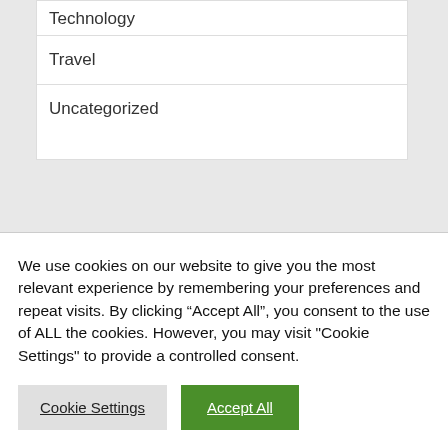Technology
Travel
Uncategorized
RECENT POSTS
We use cookies on our website to give you the most relevant experience by remembering your preferences and repeat visits. By clicking “Accept All”, you consent to the use of ALL the cookies. However, you may visit "Cookie Settings" to provide a controlled consent.
Cookie Settings | Accept All